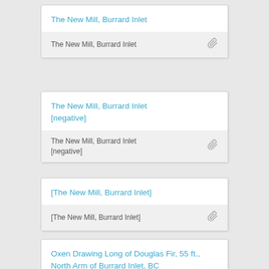The New Mill, Burrard Inlet
The New Mill, Burrard Inlet [negative]
[The New Mill, Burrard Inlet]
Oxen Drawing Long of Douglas Fir, 55 ft., North Arm of Burrard Inlet, BC